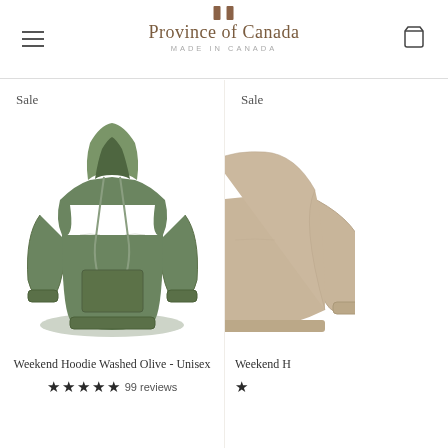Province of Canada — MADE IN CANADA
Sale
[Figure (photo): Olive green washed pullover hoodie on white background]
Weekend Hoodie Washed Olive - Unisex
★★★★★ 99 reviews
Sale
[Figure (photo): Partial view of a tan/beige hoodie on white background]
Weekend H...